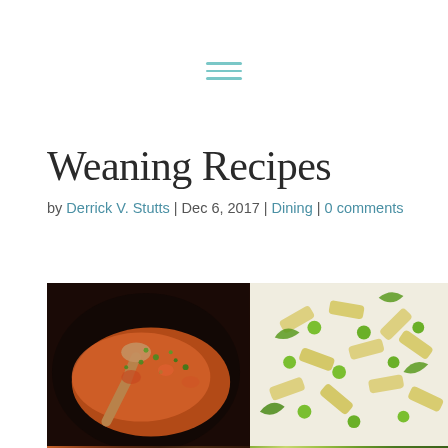[Figure (other): Hamburger/navigation menu icon with three horizontal teal lines]
Weaning Recipes
by Derrick V. Stutts | Dec 6, 2017 | Dining | 0 comments
[Figure (photo): Side-by-side food photos: left shows a pan with orange/red curry dish with wooden spoon and green herbs; right shows pasta with peas and green vegetables on white background]